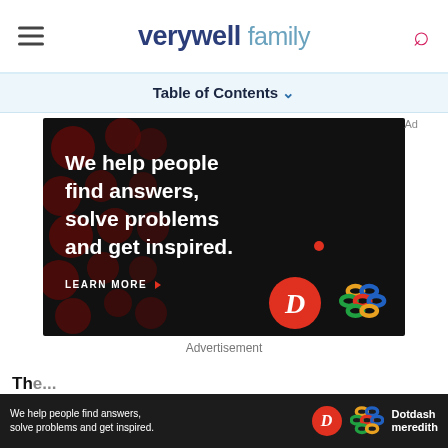verywell family
Table of Contents
[Figure (illustration): Dotdash Meredith advertisement on black background with dark red dot pattern. Text reads: 'We help people find answers, solve problems and get inspired.' with 'LEARN MORE' CTA, Dotdash D logo in red circle, and Dotdash Meredith knot logo.]
Advertisement
Th...
[Figure (illustration): Bottom banner ad: 'We help people find answers, solve problems and get inspired.' with Dotdash D logo and Dotdash Meredith branding on dark background.]